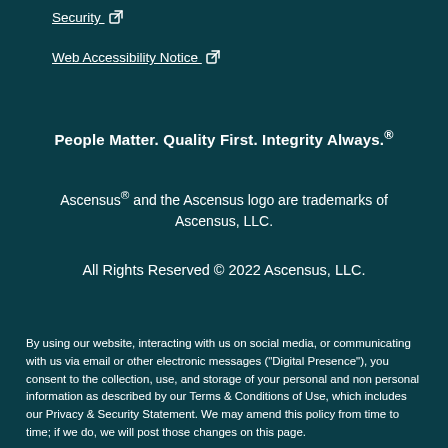Security ↗
Web Accessibility Notice ↗
People Matter. Quality First. Integrity Always.*
Ascensus® and the Ascensus logo are trademarks of Ascensus, LLC.
All Rights Reserved © 2022 Ascensus, LLC.
By using our website, interacting with us on social media, or communicating with us via email or other electronic messages ("Digital Presence"), you consent to the collection, use, and storage of your personal and non personal information as described by our Terms & Conditions of Use, which includes our Privacy & Security Statement. We may amend this policy from time to time; if we do, we will post those changes on this page.